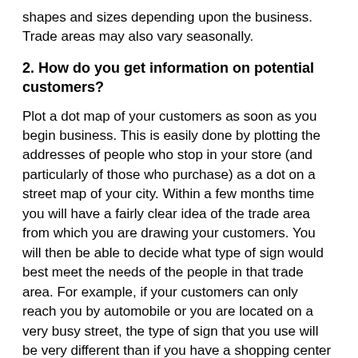shapes and sizes depending upon the business. Trade areas may also vary seasonally.
2. How do you get information on potential customers?
Plot a dot map of your customers as soon as you begin business. This is easily done by plotting the addresses of people who stop in your store (and particularly of those who purchase) as a dot on a street map of your city. Within a few months time you will have a fairly clear idea of the trade area from which you are drawing your customers. You will then be able to decide what type of sign would best meet the needs of the people in that trade area. For example, if your customers can only reach you by automobile or you are located on a very busy street, the type of sign that you use will be very different than if you have a shopping center location and people must walk to your store from parking lots.
Obtain your street profile from a city traffic engineer. Since your sign communicates to people who pass your business establishment, you can direct your message to potential customers if you know what type of traffic